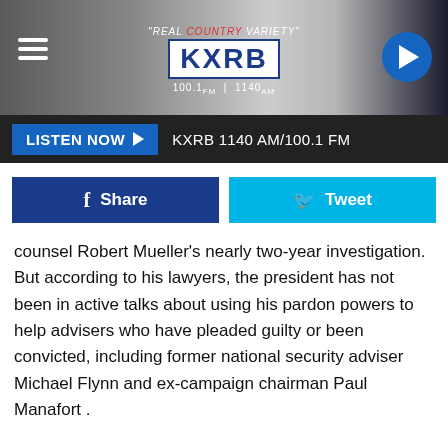[Figure (logo): KXRB radio station header with logo, menu icon, and play button. Text: REAL COUNTRY VARIETY, KXRB, 100.1 FM | 1140 AM]
LISTEN NOW ▶  KXRB 1140 AM/100.1 FM
f Share   🐦 Tweet
counsel Robert Mueller's nearly two-year investigation. But according to his lawyers, the president has not been in active talks about using his pardon powers to help advisers who have pleaded guilty or been convicted, including former national security adviser Michael Flynn and ex-campaign chairman Paul Manafort .
"The president is not going to consider pardons. He's not gonna give any pardons," said Rudy Giuliani, the president's outside attorney. "If it ever happens, it has to happen in the future, but nobody has any promise of it, nobody should assume it. Of course, he has the power to do it, but I have no